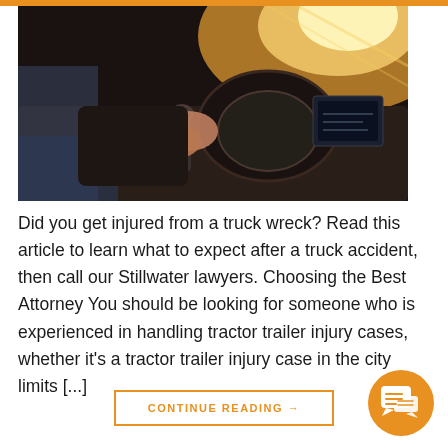[Figure (photo): Close-up photo of a truck driver's hands on a gear shift inside a truck cab, with sunlight streaming through the windshield]
Did you get injured from a truck wreck? Read this article to learn what to expect after a truck accident, then call our Stillwater lawyers. Choosing the Best Attorney You should be looking for someone who is experienced in handling tractor trailer injury cases, whether it's a tractor trailer injury case in the city limits [...]
CONTINUE READING →